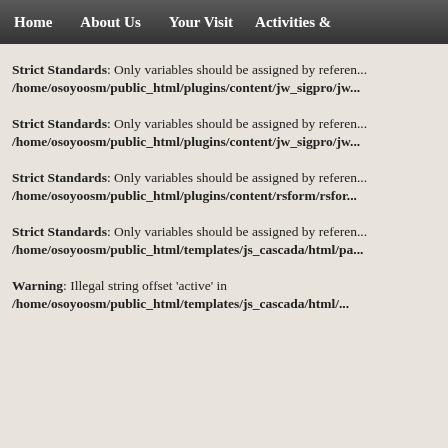Home | About Us | Your Visit | Activities &
Strict Standards: Only variables should be assigned by reference /home/osoyoosm/public_html/plugins/content/jw_sigpro/jw...
Strict Standards: Only variables should be assigned by reference /home/osoyoosm/public_html/plugins/content/jw_sigpro/jw...
Strict Standards: Only variables should be assigned by reference /home/osoyoosm/public_html/plugins/content/rsform/rsfor...
Strict Standards: Only variables should be assigned by reference /home/osoyoosm/public_html/templates/js_cascada/html/pa...
Warning: Illegal string offset 'active' in /home/osoyoosm/public_html/templates/js_cascada/html/...